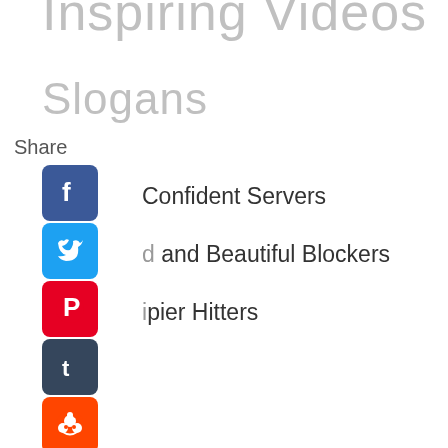Inspiring Videos
Slogans
Share
Confident Servers
and Beautiful Blockers
pier Hitters
ar Volleyball
Your Dear Volleyball Letters
Vegas Interviews